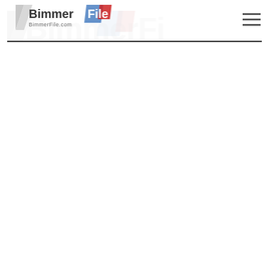BimmerFile
[Figure (logo): BimmerFile logo with BMW M-style tricolor stripe (blue, red) and stylized B/F letterforms, shown in two layers: a large faded background version and a smaller foreground version]